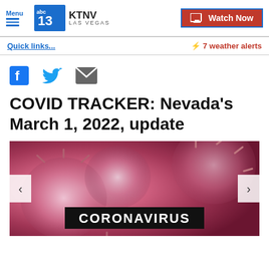Menu | KTNV LAS VEGAS | Watch Now
Quick links...
⚡ 7 weather alerts
[Figure (infographic): Social media share icons: Facebook (blue F), Twitter (blue bird), Email (grey envelope)]
COVID TRACKER: Nevada's March 1, 2022, update
[Figure (photo): Microscopic image of coronavirus cells with pink/magenta coloring. A dark banner overlay reads CORONAVIRUS in white bold letters. Navigation arrows on left and right sides.]